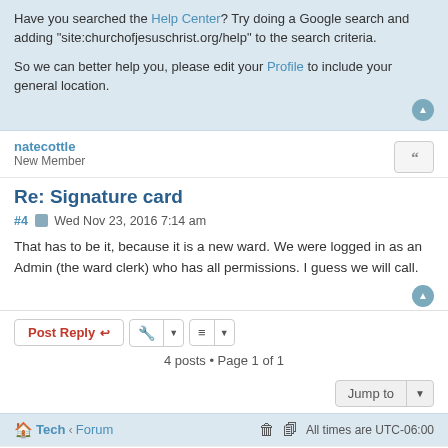Have you searched the Help Center? Try doing a Google search and adding "site:churchofjesuschrist.org/help" to the search criteria.
So we can better help you, please edit your Profile to include your general location.
natecottle
New Member
Re: Signature card
#4  Wed Nov 23, 2016 7:14 am
That has to be it, because it is a new ward. We were logged in as an Admin (the ward clerk) who has all permissions. I guess we will call.
4 posts • Page 1 of 1
Tech < Forum    All times are UTC-06:00
Powered by phpBB® Forum Software © phpBB Limited